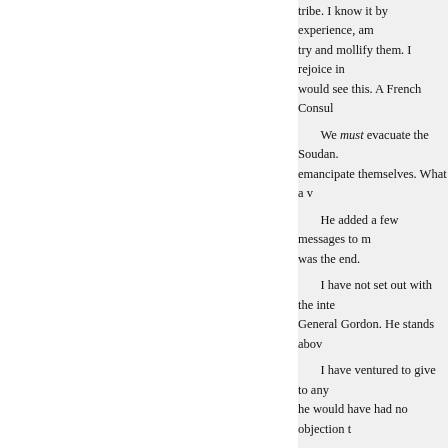tribe. I know it by experience, am try and mollify them. I rejoice in would see this. A French Consul We must evacuate the Soudan. emancipate themselves. What a v He added a few messages to m was the end. I have not set out with the inte General Gordon. He stands abov I have ventured to give to any he would have had no objection t His letters, like his conversatio sometimes of private friends. Th There have been attempts made t death shed upon our country. The It is true that he took small acc called a 'dress suit.' He was neve hand with street arabs. He knew his eyes the worst of crimes. I am Many lies have been told of him